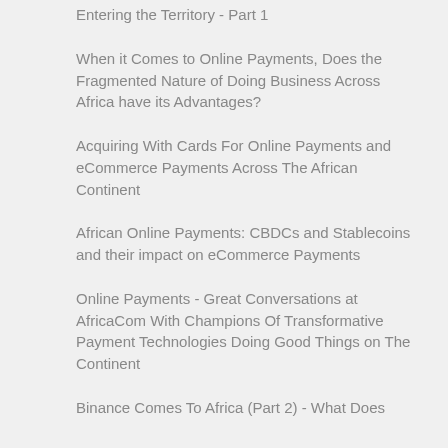Entering the Territory - Part 1
When it Comes to Online Payments, Does the Fragmented Nature of Doing Business Across Africa have its Advantages?
Acquiring With Cards For Online Payments and eCommerce Payments Across The African Continent
African Online Payments: CBDCs and Stablecoins and their impact on eCommerce Payments
Online Payments - Great Conversations at AfricaCom With Champions Of Transformative Payment Technologies Doing Good Things on The Continent
Binance Comes To Africa (Part 2) - What Does